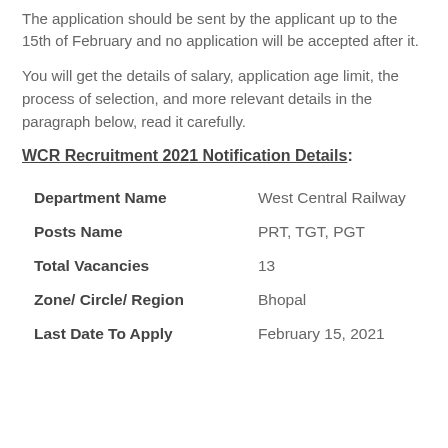The application should be sent by the applicant up to the 15th of February and no application will be accepted after it.
You will get the details of salary, application age limit, the process of selection, and more relevant details in the paragraph below, read it carefully.
WCR Recruitment 2021 Notification Details:
| Field | Value |
| --- | --- |
| Department Name | West Central Railway |
| Posts Name | PRT, TGT, PGT |
| Total Vacancies | 13 |
| Zone/ Circle/ Region | Bhopal |
| Last Date To Apply | February 15, 2021 |